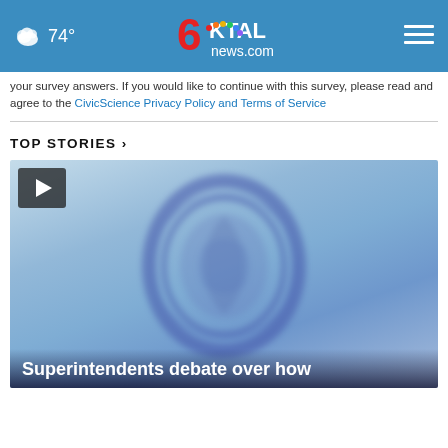74° KTAL news.com
your survey answers. If you would like to continue with this survey, please read and agree to the CivicScience Privacy Policy and Terms of Service
TOP STORIES ›
[Figure (screenshot): Video thumbnail showing a blurred official seal or medallion on a blue background, with a play button icon in the top-left corner and headline text 'Superintendents debate over how' at the bottom.]